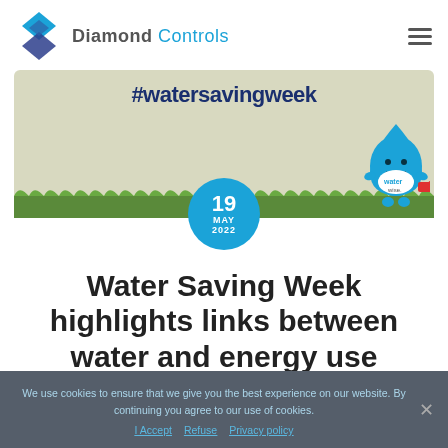[Figure (logo): Diamond Controls logo: dark blue diamond/arrow shape with Diamond Controls text in grey and blue]
[Figure (illustration): Water saving week banner: beige/olive background with #watersavingweek text, grass strip at bottom, Waterwise mascot (blue water drop character holding a red watering can), and a teal circle with date 19 MAY 2022]
Water Saving Week highlights links between water and energy use
We use cookies to ensure that we give you the best experience on our website. By continuing you agree to our use of cookies.
I Accept  Refuse  Privacy policy